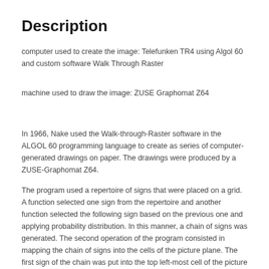Description
computer used to create the image: Telefunken TR4 using Algol 60 and custom software Walk Through Raster
machine used to draw the image: ZUSE Graphomat Z64
In 1966, Nake used the Walk-through-Raster software in the ALGOL 60 programming language to create as series of computer-generated drawings on paper. The drawings were produced by a ZUSE-Graphomat Z64.
The program used a repertoire of signs that were placed on a grid. A function selected one sign from the repertoire and another function selected the following sign based on the previous one and applying probability distribution. In this manner, a chain of signs was generated. The second operation of the program consisted in mapping the chain of signs into the cells of the picture plane. The first sign of the chain was put into the top left-most cell of the picture plane. The second sign of the chain was placed into the next cell, and so forth, until all signs